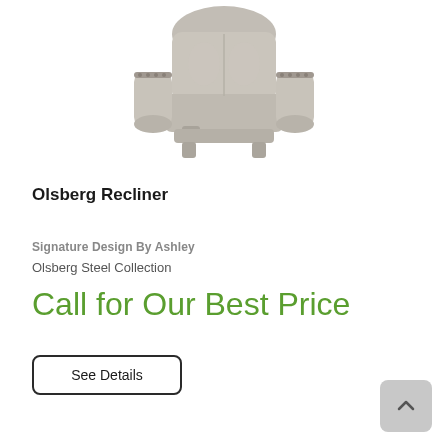[Figure (photo): Gray upholstered Olsberg recliner chair with nailhead trim and rolled arms, photographed on white background]
Olsberg Recliner
Signature Design By Ashley
Olsberg Steel Collection
Call for Our Best Price
See Details